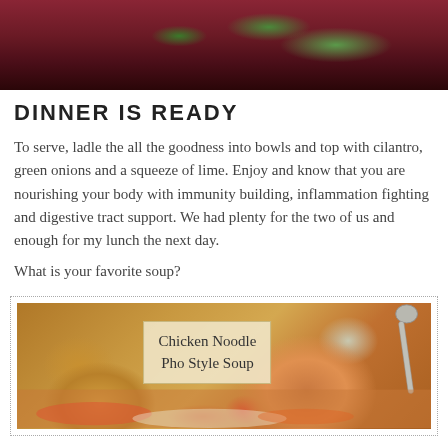[Figure (photo): Top portion of a cooking pot with colorful vegetables and dark broth, cropped at the top of the page]
DINNER IS READY
To serve, ladle the all the goodness into bowls and top with cilantro, green onions and a squeeze of lime. Enjoy and know that you are nourishing your body with immunity building, inflammation fighting and digestive tract support. We had plenty for the two of us and enough for my lunch the next day.
What is your favorite soup?
[Figure (photo): Photo of Chicken Noodle Pho Style Soup in a wooden bowl with carrots, noodles, and a spoon, inside a dotted border box with a label overlay reading 'Chicken Noodle Pho Style Soup']